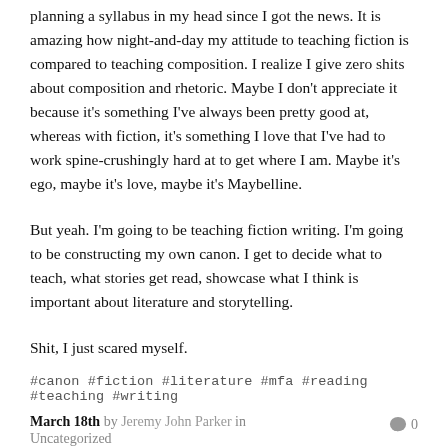planning a syllabus in my head since I got the news. It is amazing how night-and-day my attitude to teaching fiction is compared to teaching composition. I realize I give zero shits about composition and rhetoric. Maybe I don't appreciate it because it's something I've always been pretty good at, whereas with fiction, it's something I love that I've had to work spine-crushingly hard at to get where I am. Maybe it's ego, maybe it's love, maybe it's Maybelline.
But yeah. I'm going to be teaching fiction writing. I'm going to be constructing my own canon. I get to decide what to teach, what stories get read, showcase what I think is important about literature and storytelling.
Shit, I just scared myself.
#canon #fiction #literature #mfa #reading #teaching #writing
March 18th by Jeremy John Parker in Uncategorized